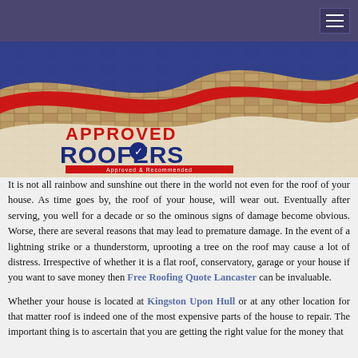[Figure (photo): Hero banner image showing roof tiles with Approved Roofers logo overlaid on a wave-shaped banner in red, white, and blue colors. Logo reads 'APPROVED ROOFERS - Approved & Recommended'.]
It is not all rainbow and sunshine out there in the world not even for the roof of your house. As time goes by, the roof of your house, will wear out. Eventually after serving, you well for a decade or so the ominous signs of damage become obvious. Worse, there are several reasons that may lead to premature damage. In the event of a lightning strike or a thunderstorm, uprooting a tree on the roof may cause a lot of distress. Irrespective of whether it is a flat roof, conservatory, garage or your house if you want to save money then Free Roofing Quote Lancaster can be invaluable.
Whether your house is located at Kingston Upon Hull or at any other location for that matter roof is indeed one of the most expensive parts of the house to repair. The important thing is to ascertain that you are getting the right value for the money that